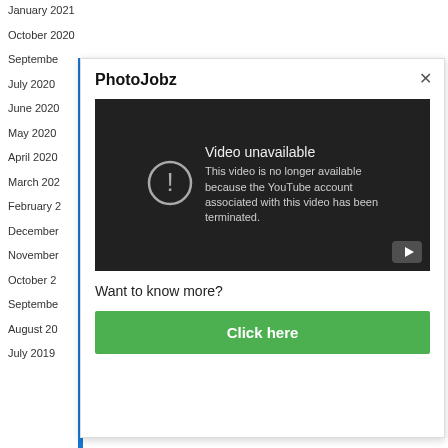January 2021
October 2020
September
July 2020
June 2020
May 2020
April 2020
March 202
February 2
December
November
October 2
September
August 20
July 2019
PhotoJobz
[Figure (screenshot): YouTube video unavailable screen showing error message: 'Video unavailable - This video is no longer available because the YouTube account associated with this video has been terminated.' with a YouTube play button icon in the corner.]
Want to know more?
Click here